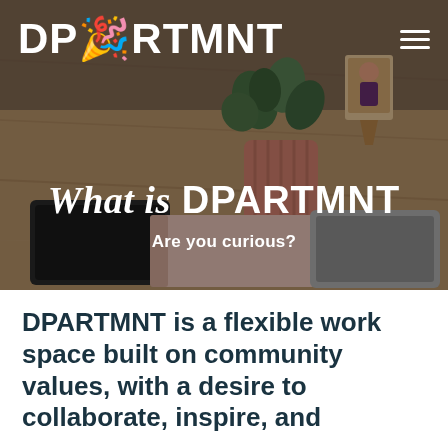[Figure (photo): Overhead/desk scene with a plant in a pink ribbed pot, a small framed picture on a wooden stand, notebooks, and a laptop on a wooden desk surface, serving as hero background image for DPARTMNT website]
DPARTMNT
What is DPARTMNT
Are you curious?
DPARTMNT is a flexible work space built on community values, with a desire to collaborate, inspire, and